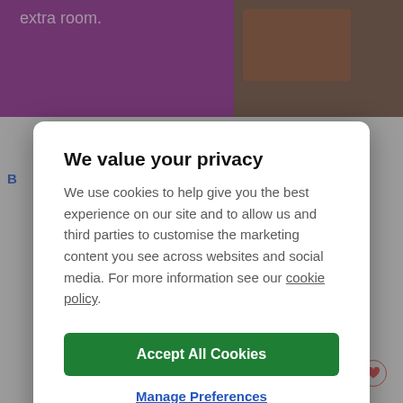[Figure (screenshot): Background webpage with purple banner showing 'extra room.' text at top left, dark brown/image area at top right, and furniture product thumbnails at bottom, partially obscured by a semi-transparent overlay and modal dialog.]
We value your privacy
We use cookies to help give you the best experience on our site and to allow us and third parties to customise the marketing content you see across websites and social media. For more information see our cookie policy.
Accept All Cookies
Manage Preferences